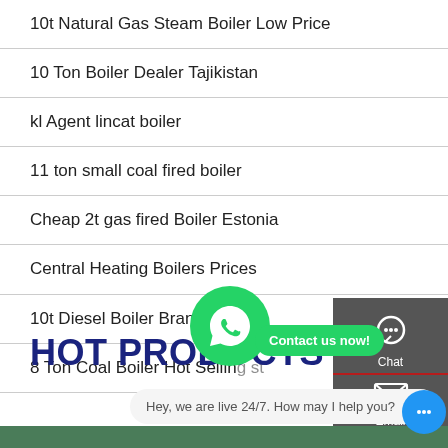10t Natural Gas Steam Boiler Low Price
10 Ton Boiler Dealer Tajikistan
kl Agent lincat boiler
11 ton small coal fired boiler
Cheap 2t gas fired Boiler Estonia
Central Heating Boilers Prices
10t Diesel Boiler Brand Ukraine
8 Ton Coal Boiler Hot Selling st
HOT PRODUCTS
[Figure (screenshot): Side panel with Chat, Email, Contact, Top buttons on dark grey background; WhatsApp green bubble with Contact us now! tooltip; live chat bar at bottom saying Hey, we are live 24/7. How may I help you?]